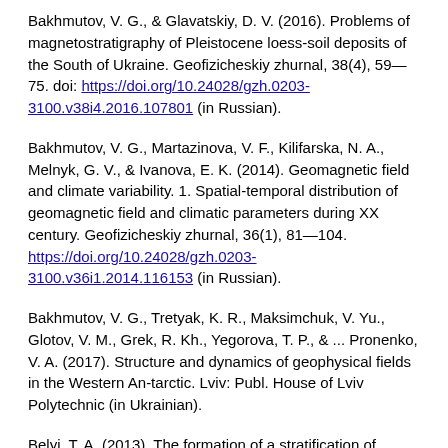Bakhmutov, V. G., & Glavatskiy, D. V. (2016). Problems of magnetostratigraphy of Pleistocene loess-soil deposits of the South of Ukraine. Geofizicheskiy zhurnal, 38(4), 59—75. doi: https://doi.org/10.24028/gzh.0203-3100.v38i4.2016.107801 (in Russian).
Bakhmutov, V. G., Martazinova, V. F., Kilifarska, N. A., Melnyk, G. V., & Ivanova, E. K. (2014). Geomagnetic field and climate variability. 1. Spatial-temporal distribution of geomagnetic field and climatic parameters during XX century. Geofizicheskiy zhurnal, 36(1), 81—104. https://doi.org/10.24028/gzh.0203-3100.v36i1.2014.116153 (in Russian).
Bakhmutov, V. G., Tretyak, K. R., Maksimchuk, V. Yu., Glotov, V. M., Grek, R. Kh., Yegorova, T. P., & ... Pronenko, V. A. (2017). Structure and dynamics of geophysical fields in the Western An-tarctic. Lviv: Publ. House of Lviv Polytechnic (in Ukrainian).
Belyi, T. A. (2013). The formation of a stratification of clouds